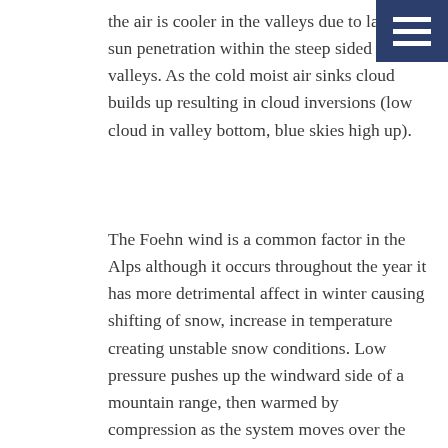the air is cooler in the valleys due to lack of sun penetration within the steep sided valleys. As the cold moist air sinks cloud builds up resulting in cloud inversions (low cloud in valley bottom, blue skies high up).
The Foehn wind is a common factor in the Alps although it occurs throughout the year it has more detrimental affect in winter causing shifting of snow, increase in temperature creating unstable snow conditions. Low pressure pushes up the windward side of a mountain range, then warmed by compression as the system moves over the top of the range and finally dumped over the leeward slopes creating a strong warm wind that can last for a number of days. Temperature can increase by as much as 15 to 20 degrees.
Other notable weather signs are the Lenticular clouds, for example: 'le chapeau de Mont Blanc' or the hat of Mont Blanc. Unique to high...